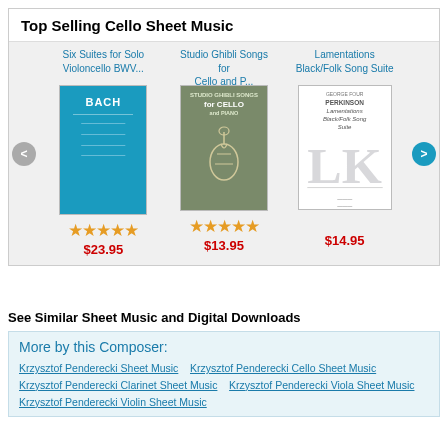Top Selling Cello Sheet Music
[Figure (other): Product carousel showing three cello sheet music items: 1) Six Suites for Solo Violoncello BWV... with 5 stars, $23.95; 2) Studio Ghibli Songs for Cello and P... with 5 stars, $13.95; 3) Lamentations Black/Folk Song Suite, $14.95. Navigation arrows on left and right.]
See Similar Sheet Music and Digital Downloads
More by this Composer:
Krzysztof Penderecki Sheet Music  Krzysztof Penderecki Cello Sheet Music  Krzysztof Penderecki Clarinet Sheet Music  Krzysztof Penderecki Viola Sheet Music  Krzysztof Penderecki Violin Sheet Music